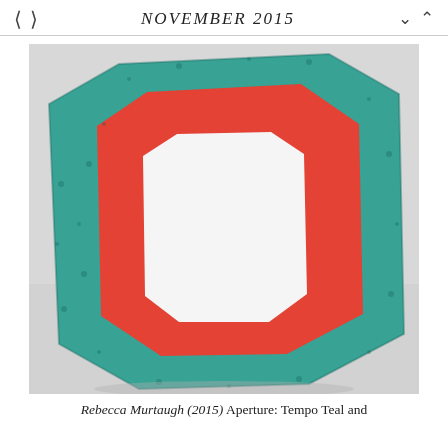< >   NOVEMBER 2015   ∨ ∧
[Figure (photo): Sculpture by Rebecca Murtaugh titled Aperture: Tempo Teal — a hexagonal ring sculpture covered in teal textured material with a red inner border surrounding a white open center, photographed on a white surface.]
Rebecca Murtaugh (2015) Aperture: Tempo Teal and